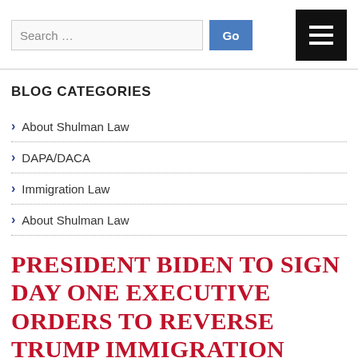Search ...  Go
BLOG CATEGORIES
About Shulman Law
DAPA/DACA
Immigration Law
About Shulman Law
PRESIDENT BIDEN TO SIGN DAY ONE EXECUTIVE ORDERS TO REVERSE TRUMP IMMIGRATION POLICIES